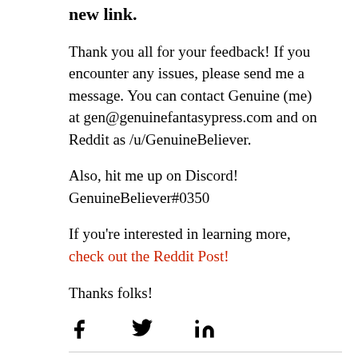new link.
Thank you all for your feedback! If you encounter any issues, please send me a message. You can contact Genuine (me) at gen@genuinefantasypress.com and on Reddit as /u/GenuineBeliever.
Also, hit me up on Discord! GenuineBeliever#0350
If you're interested in learning more, check out the Reddit Post!
Thanks folks!
[Figure (other): Social media sharing icons: Facebook (f), Twitter (bird), LinkedIn (in)]